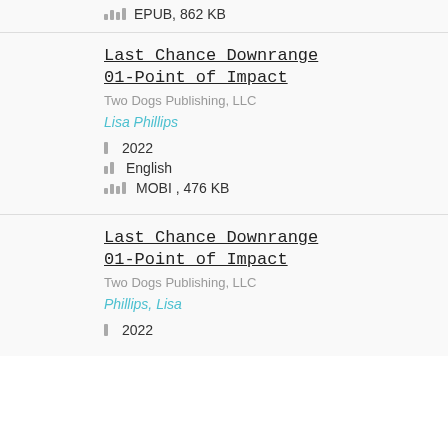EPUB, 862 KB
Last Chance Downrange 01-Point of Impact
Two Dogs Publishing, LLC
Lisa Phillips
2022
English
MOBI , 476 KB
Last Chance Downrange 01-Point of Impact
Two Dogs Publishing, LLC
Phillips, Lisa
2022